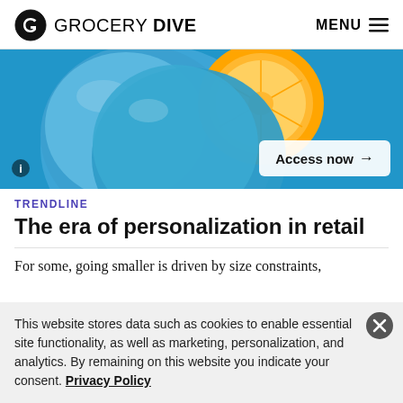GROCERY DIVE | MENU
[Figure (photo): Blue-painted orange fruit on blue background, with an 'Access now →' button overlay and an info icon in the bottom-left corner.]
TRENDLINE
The era of personalization in retail
For some, going smaller is driven by size constraints,
This website stores data such as cookies to enable essential site functionality, as well as marketing, personalization, and analytics. By remaining on this website you indicate your consent. Privacy Policy